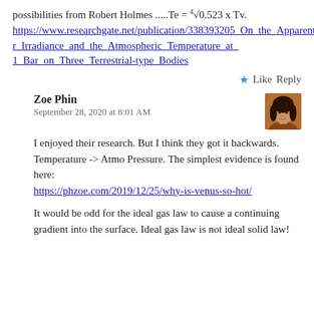possibilities from Robert Holmes .....Te = ⁴√0.523 x Tv. https://www.researchgate.net/publication/338393205_On_the_Apparent_Relationship_Between_Total_Solar_Irradiance_and_the_Atmospheric_Temperature_at_1_Bar_on_Three_Terrestrial-type_Bodies
★ Like  Reply
Zoe Phin
September 28, 2020 at 8:01 AM
I enjoyed their research. But I think they got it backwards. Temperature -> Atmo Pressure. The simplest evidence is found here: https://phzoe.com/2019/12/25/why-is-venus-so-hot/
It would be odd for the ideal gas law to cause a continuing gradient into the surface. Ideal gas law is not ideal solid law!